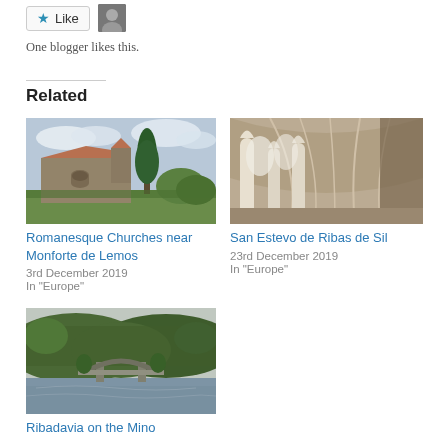[Figure (other): Like button with star icon and user avatar thumbnail]
One blogger likes this.
Related
[Figure (photo): Romanesque church building with tall cypress tree, stone facade, greenery in foreground, cloudy sky]
Romanesque Churches near Monforte de Lemos
3rd December 2019
In "Europe"
[Figure (photo): Gothic cloister interior with ornate white stone arched columns and vaulted ceiling]
San Estevo de Ribas de Sil
23rd December 2019
In "Europe"
[Figure (photo): Arch bridge over a river surrounded by dense green forested hills, overcast sky]
Ribadavia on the Mino